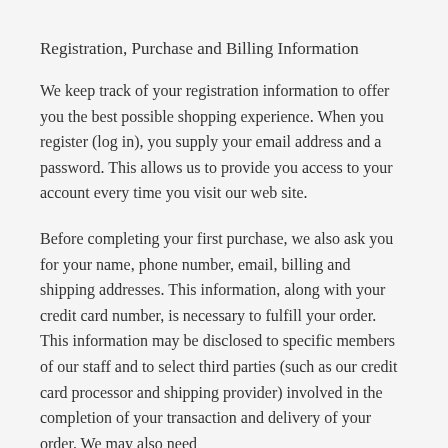Registration, Purchase and Billing Information
We keep track of your registration information to offer you the best possible shopping experience.  When you register (log in), you supply your email address and a password.  This allows us to provide you access to your account every time you visit our web site.
Before completing your first purchase, we also ask you for your name, phone number, email, billing and shipping addresses.  This information, along with your credit card number, is necessary to fulfill your order.  This information may be disclosed to specific members of our staff and to select third parties (such as our credit card processor and shipping provider) involved in the completion of your transaction and delivery of your order.  We may also need